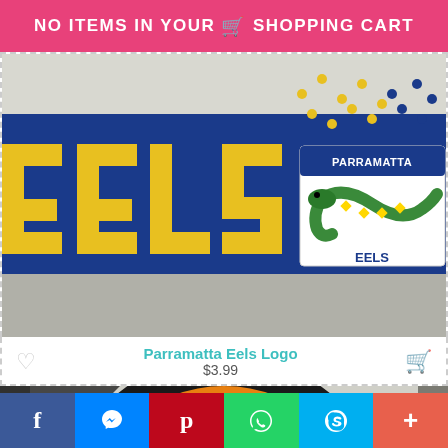NO ITEMS IN YOUR SHOPPING CART
[Figure (photo): Parramatta Eels knitted/crochet pattern showing 'EELS' text in blue and gold with the Parramatta Eels eel logo badge in top right corner]
Parramatta Eels Logo
$3.99
[Figure (photo): Wests Tigers knitted/crochet pattern showing the Wests Tigers circular logo with orange and black colors featuring a tiger mascot, labeled DIGITAL SAMPLE NOT A PHOTO]
f | messenger | p | whatsapp | skype | +